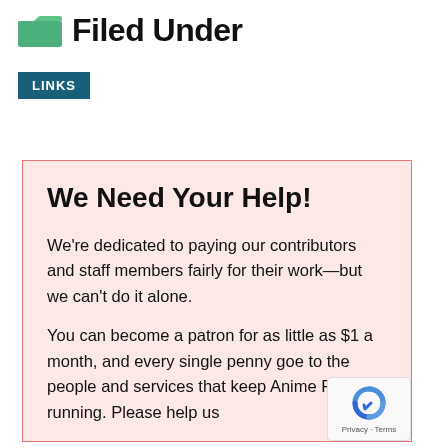Filed Under
LINKS
We Need Your Help!
We're dedicated to paying our contributors and staff members fairly for their work—but we can't do it alone.
You can become a patron for as little as $1 a month, and every single penny goes to the people and services that keep Anime Feminist running. Please help us